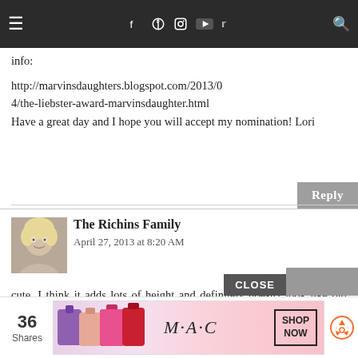Navigation bar with hamburger menu, social icons (f, Pinterest, Instagram, YouTube, Twitter), and search icon
blog! What great ideas you have! I have nominated you for the Liebster Award! Here is a link to my crafting blog with more info:
http://marvinsdaughters.blogspot.com/2013/04/the-liebster-award-marvinsdaughter.html Have a great day and I hope you will accept my nomination! Lori
Reply
[Figure (photo): Avatar photo of a blonde woman]
The Richins Family
April 27, 2013 at 8:20 AM

cute. I think it adds lots of height and definitely doesn't look like old grandma house. :)
CLOSE
[Figure (other): MAC cosmetics advertisement showing lipsticks with SHOP NOW button]
36 Shares